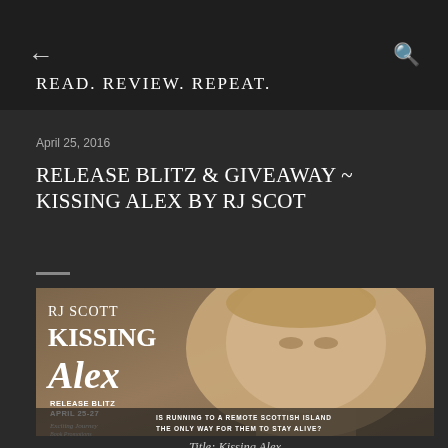READ. REVIEW. REPEAT.
April 25, 2016
RELEASE BLITZ & GIVEAWAY ~ KISSING ALEX BY RJ SCOT
[Figure (illustration): Book promotional banner for 'Kissing Alex' by RJ Scott. Shows a close-up photo of a young man with blonde hair against a textured background. Text overlay reads: RJ SCOTT, KISSING Alex, RELEASE BLITZ APRIL 25-27, Exciting Journey Book Promotions, IS RUNNING TO A REMOTE SCOTTISH ISLAND THE ONLY WAY FOR THEM TO STAY ALIVE?, BODYGUARDS INC. #6]
Title: Kissing Alex